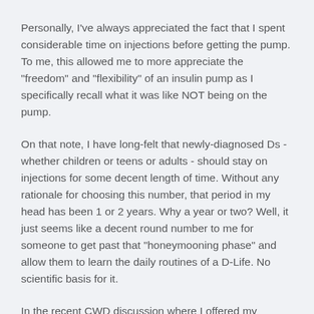Personally, I've always appreciated the fact that I spent considerable time on injections before getting the pump. To me, this allowed me to more appreciate the "freedom" and "flexibility" of an insulin pump as I specifically recall what it was like NOT being on the pump.
On that note, I have long-felt that newly-diagnosed Ds - whether children or teens or adults - should stay on injections for some decent length of time. Without any rationale for choosing this number, that period in my head has been 1 or 2 years. Why a year or two? Well, it just seems like a decent round number to me for someone to get past that "honeymooning phase" and allow them to learn the daily routines of a D-Life. No scientific basis for it.
In the recent CWD discussion where I offered my thoughts, many parents came back saying that I was somehow off basis for wanting to "reward" a child with a pump, or that I was...